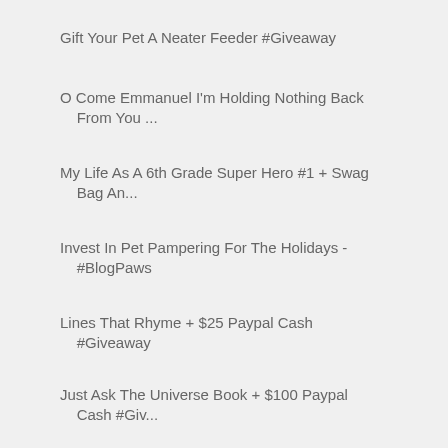Gift Your Pet A Neater Feeder #Giveaway
O Come Emmanuel I'm Holding Nothing Back From You ...
My Life As A 6th Grade Super Hero #1 + Swag Bag An...
Invest In Pet Pampering For The Holidays - #BlogPaws
Lines That Rhyme + $25 Paypal Cash #Giveaway
Just Ask The Universe Book + $100 Paypal Cash #Giv...
Neater Feeder Spoil The Pet Spare The Floor #Givea...
No More Scooping Sweepstakes - Petsafe ScoopFree S...
The Boy Who Played The Drum - #Music
► Nov ( 29 )